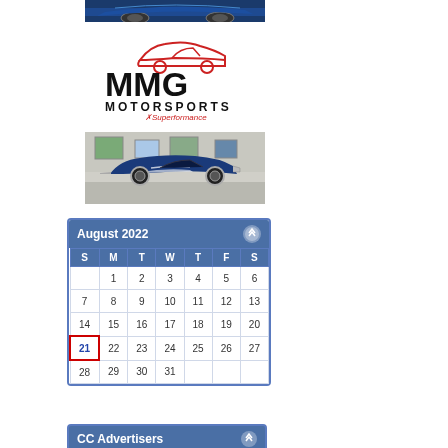[Figure (photo): Blue sports car top partial view]
[Figure (logo): MMG Motorsports logo with Superformance branding - red car outline above bold MMG text, MOTORSPORTS below, Superformance in smaller text]
[Figure (photo): Blue Cobra replica sports car in showroom setting]
| S | M | T | W | T | F | S |
| --- | --- | --- | --- | --- | --- | --- |
|  | 1 | 2 | 3 | 4 | 5 | 6 |
| 7 | 8 | 9 | 10 | 11 | 12 | 13 |
| 14 | 15 | 16 | 17 | 18 | 19 | 20 |
| 21 | 22 | 23 | 24 | 25 | 26 | 27 |
| 28 | 29 | 30 | 31 |  |  |  |
CC Advertisers